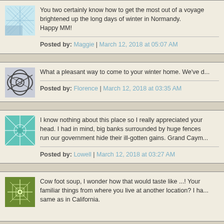You two certainly know how to get the most out of a voyage... brightened up the long days of winter in Normandy. Happy MM!
Posted by: Maggie | March 12, 2018 at 05:07 AM
What a pleasant way to come to your winter home. We've d...
Posted by: Florence | March 12, 2018 at 03:35 AM
I know nothing about this place so I really appreciated your... head. I had in mind, big banks surrounded by huge fences... run our government hide their ill-gotten gains. Grand Caym...
Posted by: Lowell | March 12, 2018 at 03:27 AM
Cow foot soup, I wonder how that would taste like ...! Your familiar things from where you live at another location? I ha... same as in California.